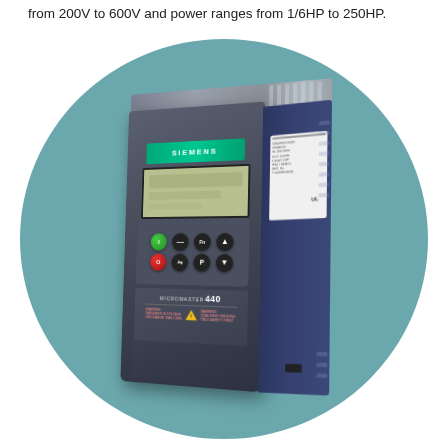from 200V to 600V and power ranges from 1/6HP to 250HP.
[Figure (photo): Siemens Micromaster 440 variable frequency drive (VFD) unit shown in a 3/4 perspective view, displayed against a teal circular background. The device is a dark grey/navy blue industrial inverter with a green Siemens logo bar, LCD display screen, control buttons (green, red, and black), and the model name MICROMASTER 440 on the lower front panel. The right side shows a blue panel with a specification label.]